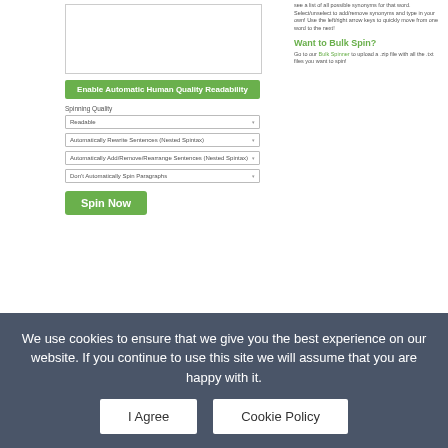[Figure (screenshot): Screenshot of a spinner tool interface showing a text input area, an 'Enable Automatic Human Quality Readability' green button, spinning quality dropdowns including 'Readable', 'Automatically Rewrite Sentences (Nested Spintax)', 'Automatically Add/Remove/Rearrange Sentences (Nested Spintax)', 'Don't Automatically Spin Paragraphs', and a green 'Spin Now' button. Right side shows a 'Want to Bulk Spin?' section with a link to Bulk Spinner.]
This is what the "Standard" spinner page looks like. Pretty straightforward right? You have a text input where you will enter the content you want to spin and then a few settings that we are going to
We use cookies to ensure that we give you the best experience on our website. If you continue to use this site we will assume that you are happy with it.
I Agree    Cookie Policy